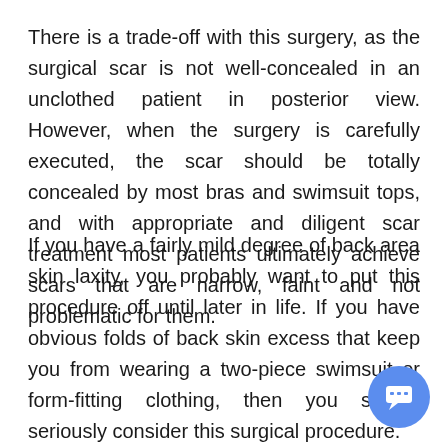There is a trade-off with this surgery, as the surgical scar is not well-concealed in an unclothed patient in posterior view. However, when the surgery is carefully executed, the scar should be totally concealed by most bras and swimsuit tops, and with appropriate and diligent scar treatment most patients ultimately achieve scars that are narrow, faint and not problematic for them.
If you have a fairly mild degree of back area skin laxity, you probably want to put this procedure off until later in life. If you have obvious folds of back skin excess that keep you from wearing a two-piece swimsuit or form-fitting clothing, then you should seriously consider this surgical procedure.